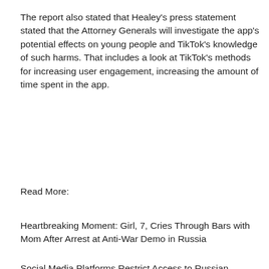The report also stated that Healey's press statement stated that the Attorney Generals will investigate the app's potential effects on young people and TikTok's knowledge of such harms. That includes a look at TikTok's methods for increasing user engagement, increasing the amount of time spent in the app.
Read More:
Heartbreaking Moment: Girl, 7, Cries Through Bars with Mom After Arrest at Anti-War Demo in Russia
Social Media Platforms Restrict Access to Russian State-Affiliated Media
[Figure (photo): Partial image visible at bottom of page, appears to be a news article thumbnail, with a watermark reading 'nltx.com' in the lower left corner.]